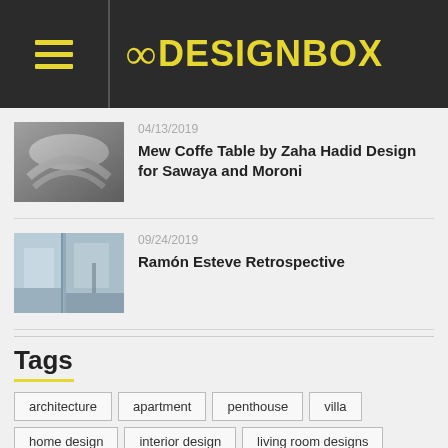8DESIGNBOX
[Figure (photo): Black and white photo of a sculptural curved white object, likely the Mew Coffee Table]
04/13/2019
Mew Coffe Table by Zaha Hadid Design for Sawaya and Moroni
[Figure (photo): Interior architectural photo of a minimalist white exhibition space with glass partitions]
09/24/2019
Ramón Esteve Retrospective
Tags
architecture
apartment
penthouse
villa
home design
interior design
living room designs
bedroom designs
bathroom designs
kitchen designs
bridge design
celebrity homes